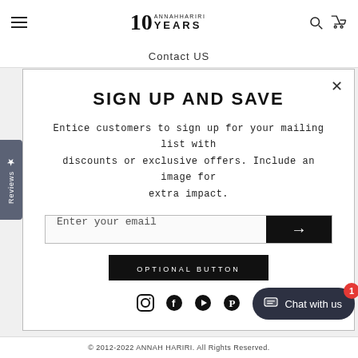10 ANNAHHARIRI YEARS — navigation header with hamburger menu, search, and cart icons
Contact US
SIGN UP AND SAVE
Entice customers to sign up for your mailing list with discounts or exclusive offers. Include an image for extra impact.
Enter your email
OPTIONAL BUTTON
[Figure (infographic): Social media icons row: Instagram, Facebook, YouTube, Pinterest]
Chat with us
© 2012-2022 ANNAH HARIRI. All Rights Reserved.